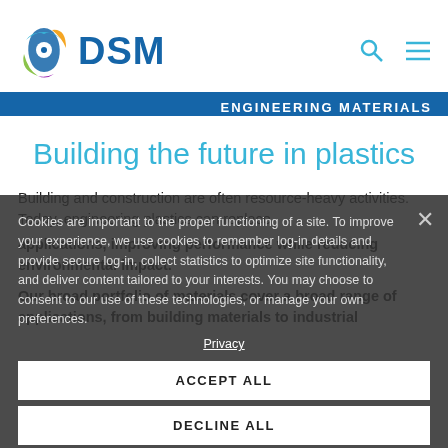DSM ENGINEERING MATERIALS
Building the future in plastics
Building and construction are often resource-heavy activities. Today, engineering plastics can replace applications, improving performance while reducing environmental impact.
Our broad portfolio of materials cover a broad range of applications, from building materials to industrial
Cookies are important to the proper functioning of a site. To improve your experience, we use cookies to remember log-in details and provide secure log-in, collect statistics to optimize site functionality, and deliver content tailored to your interests. You may choose to consent to our use of these technologies, or manage your own preferences.
Privacy
ACCEPT ALL
DECLINE ALL
MANAGE SETTINGS
temperatures and harsh weather to extend the life of